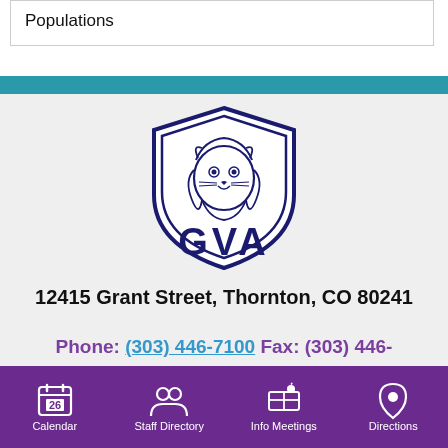Populations
[Figure (logo): GVA (Grant Vanguard Academy) school logo — a lion head inside a shield, with 'GVA' text below in dark navy blue]
12415 Grant Street, Thornton, CO 80241
Phone: (303) 446-7100 Fax: (303) 446-7101
Calendar  Staff Directory  Info Meetings  Directions